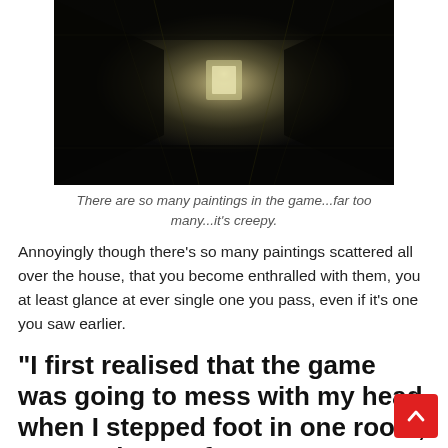[Figure (photo): Dark corridor or hallway with greenish-yellow tint, showing a tunnel-like perspective with light at the far end, resembling a scene from a video game]
There are so many paintings in the game...far too many...it's creepy.
Annoyingly though there's so many paintings scattered all over the house, that you become enthralled with them, you at least glance at ever single one you pass, even if it's one you saw earlier.
“I first realised that the game was going to mess with my head when I stepped foot in one room, went to leave after some exploring, and